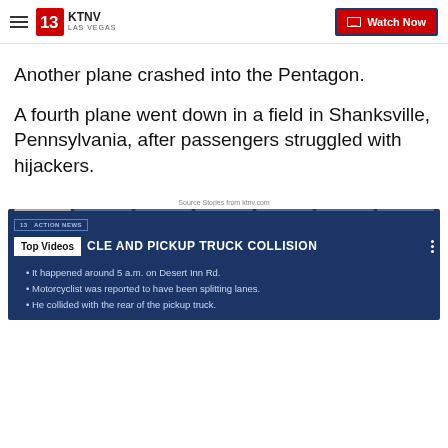KTNV LAS VEGAS | Watch Now
Another plane crashed into the Pentagon.
A fourth plane went down in a field in Shanksville, Pennsylvania, after passengers struggled with hijackers.
Source: Stories from ktnv.com
[Figure (screenshot): Video thumbnail from KTNV 13 Action News showing 'Top Videos' label and headline about motorcycle and pickup truck collision, with bullet points: It happened around 5 a.m. on Desert Inn Rd., Motorcyclist was reported to have been splitting lanes., He collided with the rear of the pickup truck.]